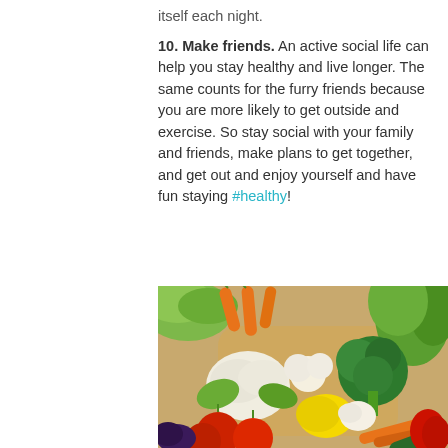itself each night.
10. Make friends. An active social life can help you stay healthy and live longer. The same counts for the furry friends because you are more likely to get outside and exercise. So stay social with your family and friends, make plans to get together, and get out and enjoy yourself and have fun staying #healthy!
[Figure (photo): A basket of colorful fresh vegetables including broccoli, cauliflower, carrots, tomatoes, garlic, onions, yellow squash, eggplant, zucchini, red bell pepper, lettuce, and herbs arranged on a wooden surface.]